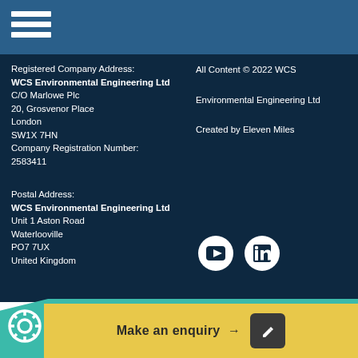[Figure (logo): Hamburger menu icon (three white horizontal lines) on steel blue header bar]
Registered Company Address:
WCS Environmental Engineering Ltd
C/O Marlowe Plc
20, Grosvenor Place
London
SW1X 7HN
Company Registration Number:
2583411
All Content © 2022 WCS
Environmental Engineering Ltd
Created by Eleven Miles
Postal Address:
WCS Environmental Engineering Ltd
Unit 1 Aston Road
Waterlooville
PO7 7UX
United Kingdom
[Figure (logo): YouTube icon circle and LinkedIn icon circle (white circles with dark icons)]
Make an enquiry →